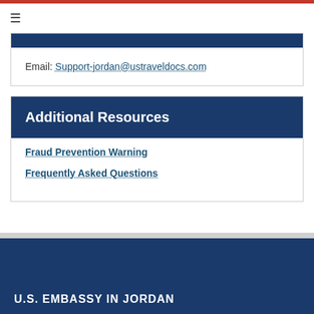☰
Email: Support-jordan@ustraveldocs.com
Additional Resources
Fraud Prevention Warning
Frequently Asked Questions
U.S. EMBASSY IN JORDAN